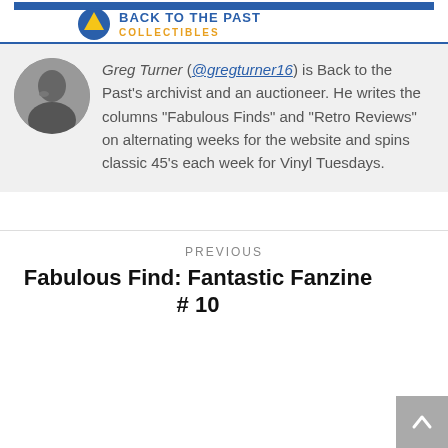Back to the Past Collectibles logo
[Figure (photo): Circular black and white photo of Greg Turner, a man resting his chin on his hand]
Greg Turner (@gregturner16) is Back to the Past's archivist and an auctioneer. He writes the columns "Fabulous Finds" and "Retro Reviews" on alternating weeks for the website and spins classic 45's each week for Vinyl Tuesdays.
PREVIOUS
Fabulous Find: Fantastic Fanzine # 10